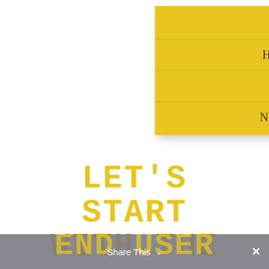CDN Cache
Hosting Cache
DNS Cache
Network Cache
LET'S
START
WITH THE
END USER
Share This  ×